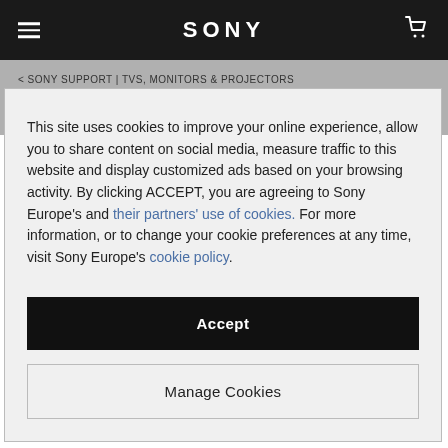SONY
< SONY SUPPORT | TVS, MONITORS & PROJECTORS
KV-29XL70E
This site uses cookies to improve your online experience, allow you to share content on social media, measure traffic to this website and display customized ads based on your browsing activity. By clicking ACCEPT, you are agreeing to Sony Europe's and their partners' use of cookies. For more information, or to change your cookie preferences at any time, visit Sony Europe's cookie policy.
Accept
Manage Cookies